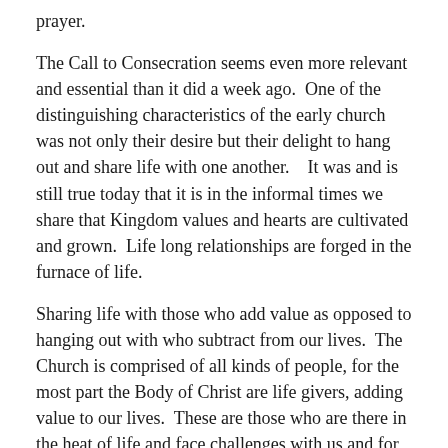prayer.
The Call to Consecration seems even more relevant and essential than it did a week ago.  One of the distinguishing characteristics of the early church was not only their desire but their delight to hang out and share life with one another.   It was and is still true today that it is in the informal times we share that Kingdom values and hearts are cultivated and grown.  Life long relationships are forged in the furnace of life.
Sharing life with those who add value as opposed to hanging out with who subtract from our lives.  The Church is comprised of all kinds of people, for the most part the Body of Christ are life givers, adding value to our lives.  These are those who are there in the heat of life and face challenges with us and for us.
We do have a responsibility to have “fellowship with one another” irrespective of their maturity level or even common interests; however in every relationship we need to be adding value to people.  That is what the early church did.  They added value to such a degree there wasn’t a need that went unmet.